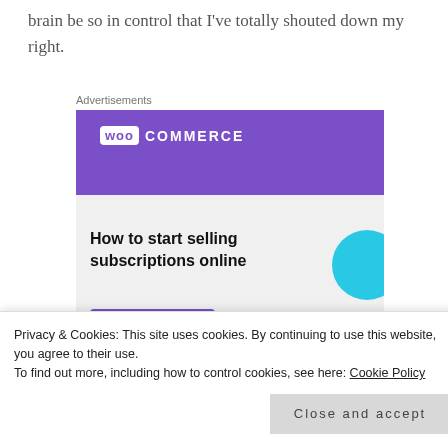brain be so in control that I've totally shouted down my right.
Advertisements
[Figure (screenshot): WooCommerce advertisement banner showing logo on purple background with teal and blue decorative shapes, headline 'How to start selling subscriptions online', and a purple button partially visible at bottom.]
Privacy & Cookies: This site uses cookies. By continuing to use this website, you agree to their use.
To find out more, including how to control cookies, see here: Cookie Policy
Close and accept